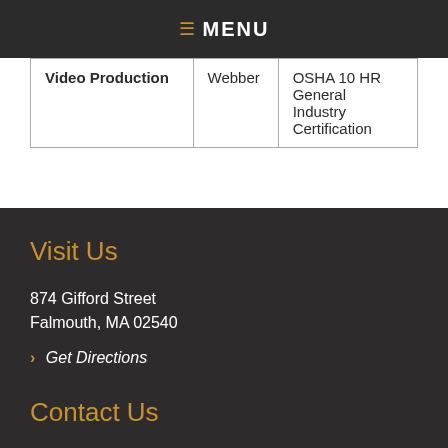MENU
| Video Production | Webber | OSHA 10 HR General Industry Certification |
Visit Us
874 Gifford Street
Falmouth, MA 02540
› Get Directions
Contact Us